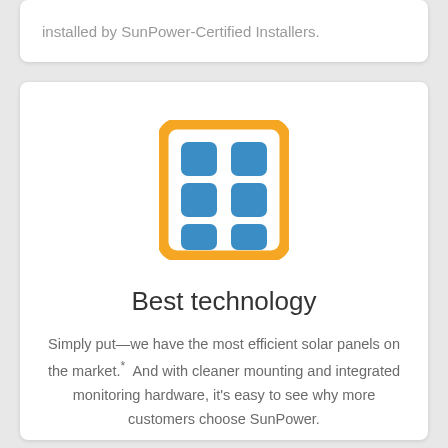installed by SunPower-Certified Installers.
[Figure (illustration): Solar panel icon: an orange rounded rectangle border containing a 3x2 grid of blue rounded squares representing solar cells]
Best technology
Simply put—we have the most efficient solar panels on the market.* And with cleaner mounting and integrated monitoring hardware, it's easy to see why more customers choose SunPower.